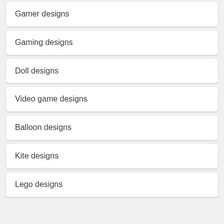Gamer designs
Gaming designs
Doll designs
Video game designs
Balloon designs
Kite designs
Lego designs